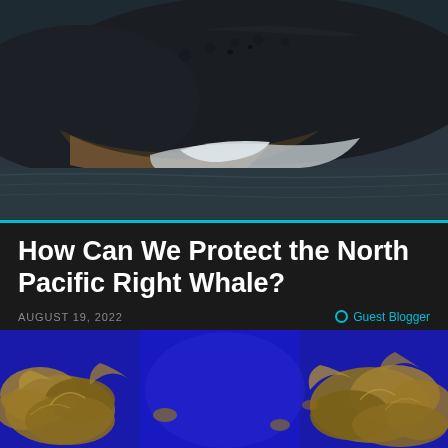[Figure (photo): Close-up photograph of a North Pacific right whale surfacing and lunging through the water with its mouth partially open, showing baleen plates, dark body against ocean water]
How Can We Protect the North Pacific Right Whale?
AUGUST 19, 2022
Guest Blogger
[Figure (photo): Close-up photograph of golden-brown sargassum seaweed against a vivid blue background]